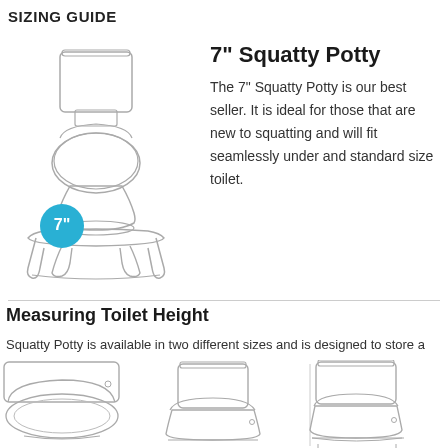SIZING GUIDE
[Figure (illustration): Line drawing of a toilet with a Squatty Potty step stool underneath it. A blue circle with '7"' label indicates the 7-inch height of the stool.]
7" Squatty Potty
The 7" Squatty Potty is our best seller. It is ideal for those that are new to squatting and will fit seamlessly under and standard size toilet.
Measuring Toilet Height
Squatty Potty is available in two different sizes and is designed to store a
[Figure (illustration): Three line drawings of toilets from the side showing toilet height measurement variations.]